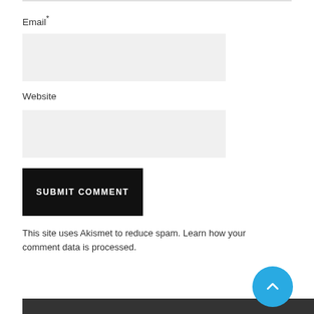Email*
[Figure (screenshot): Email input field, light gray background, empty text input box]
Website
[Figure (screenshot): Website input field, light gray background, empty text input box]
[Figure (screenshot): Submit Comment button, black background with white uppercase bold text 'SUBMIT COMMENT']
This site uses Akismet to reduce spam. Learn how your comment data is processed.
[Figure (other): Scroll-to-top circular button, light blue background with white upward chevron arrow icon]